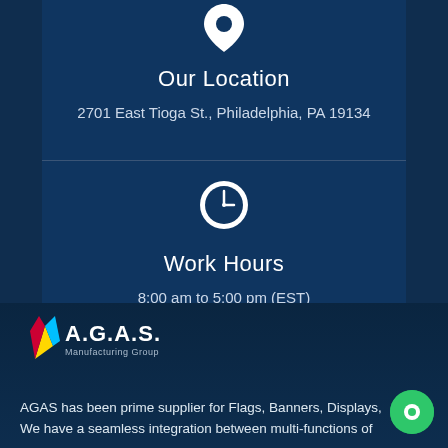[Figure (illustration): Map pin / location icon in white on dark blue card]
Our Location
2701 East Tioga St., Philadelphia, PA 19134
[Figure (illustration): Clock icon in white circle on dark blue card]
Work Hours
8:00 am to 5:00 pm (EST)
[Figure (logo): A.G.A.S. Manufacturing Group logo with colorful flame/flag icon]
AGAS has been prime supplier for Flags, Banners, Displays, We have a seamless integration between multi-functions of